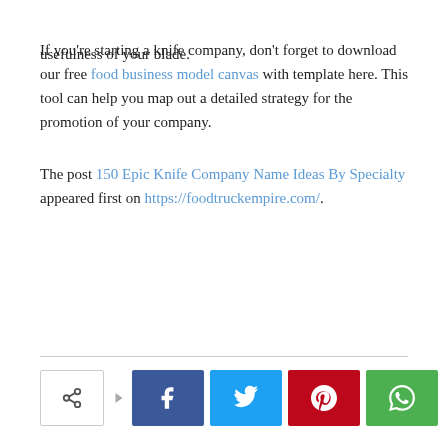usefulness of your blade.
If you're starting a knife company, don't forget to download our free food business model canvas with template here. This tool can help you map out a detailed strategy for the promotion of your company.
The post 150 Epic Knife Company Name Ideas By Specialty appeared first on https://foodtruckempire.com/.
[Figure (infographic): Social share bar with share button outline, arrow, and four colored social media buttons: Facebook (blue), Twitter (cyan), Pinterest (red), WhatsApp (green)]
Previous article
Next article